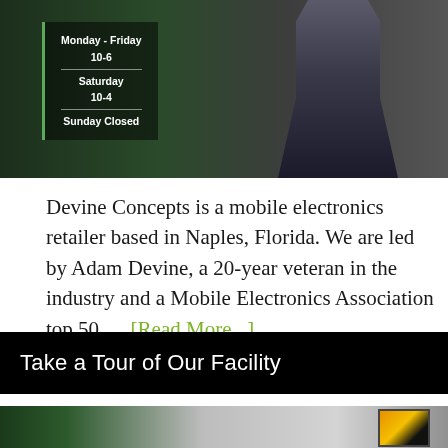[Figure (photo): Photo of a store front with business hours sign showing Monday-Friday 10-6, Saturday 10-4, Sunday Closed, and a tattooed person standing with arms crossed]
Devine Concepts is a mobile electronics retailer based in Naples, Florida. We are led by Adam Devine, a 20-year veteran in the industry and a Mobile Electronics Association top 50 … [Read More...]
Take a Tour of Our Facility
[Figure (photo): Interior photo of the Devine Concepts facility showing green walls, ceiling with recessed lights, and a TV monitor mounted on the wall displaying a yellow sports car]